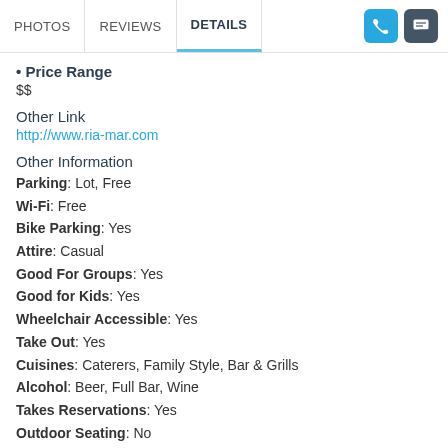PHOTOS  REVIEWS  DETAILS
• Price Range
$$
Other Link
http://www.ria-mar.com
Other Information
Parking: Lot, Free
Wi-Fi: Free
Bike Parking: Yes
Attire: Casual
Good For Groups: Yes
Good for Kids: Yes
Wheelchair Accessible: Yes
Take Out: Yes
Cuisines: Caterers, Family Style, Bar & Grills
Alcohol: Beer, Full Bar, Wine
Takes Reservations: Yes
Outdoor Seating: No